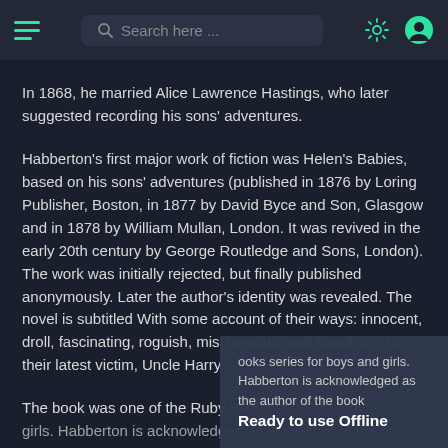Search here ...
In 1868, he married Alice Lawrence Hastings, who later suggested recording his sons' adventures.
Habberton's first major work of fiction was Helen's Babies, based on his sons' adventures (published in 1876 by Loring Publisher, Boston, in 1877 by David Byce and Son, Glasgow and in 1878 by William Mullan, London. It was revived in the early 20th century by George Routledge and Sons, London). The work was initially rejected, but finally published anonymously. Later the author's identity was revealed. The novel is subtitled With some account of their ways: innocent, droll, fascinating, roguish, mischievous, and naughty... By their latest victim, Uncle Harry.
The book was one of the Ruby Books series for boys and girls. Habberton is acknowledged as the author of the book in an advertisement within the 1903 edition of Andersen's Fairy Tales published by Brothers Habberton series.
Ready to use Offline